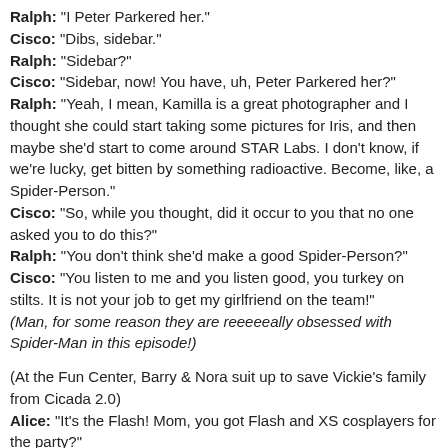Ralph: "I Peter Parkered her."
Cisco: "Dibs, sidebar."
Ralph: "Sidebar?"
Cisco: "Sidebar, now! You have, uh, Peter Parkered her?"
Ralph: "Yeah, I mean, Kamilla is a great photographer and I thought she could start taking some pictures for Iris, and then maybe she'd start to come around STAR Labs. I don't know, if we're lucky, get bitten by something radioactive. Become, like, a Spider-Person."
Cisco: "So, while you thought, did it occur to you that no one asked you to do this?"
Ralph: "You don't think she'd make a good Spider-Person?"
Cisco: "You listen to me and you listen good, you turkey on stilts. It is not your job to get my girlfriend on the team!"
(Man, for some reason they are reeeeeally obsessed with Spider-Man in this episode!)
(At the Fun Center, Barry & Nora suit up to save Vickie's family from Cicada 2.0)
Alice: "It's the Flash! Mom, you got Flash and XS cosplayers for the party?"
Barry: (deciding to go with it) "Yes, I am the Flash! And I